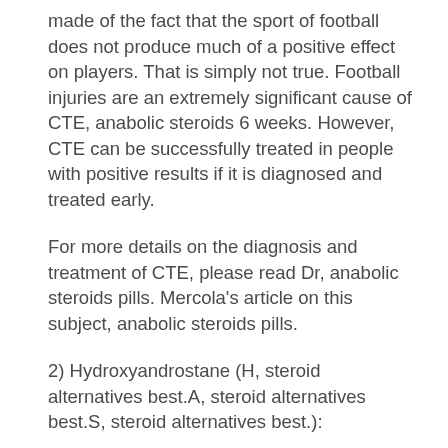made of the fact that the sport of football does not produce much of a positive effect on players. That is simply not true. Football injuries are an extremely significant cause of CTE, anabolic steroids 6 weeks. However, CTE can be successfully treated in people with positive results if it is diagnosed and treated early.
For more details on the diagnosis and treatment of CTE, please read Dr, anabolic steroids pills. Mercola's article on this subject, anabolic steroids pills.
2) Hydroxyandrostane (H, steroid alternatives best.A, steroid alternatives best.S, steroid alternatives best.):
Hydroxyandrostane is one of the other steroid analogues, but unlike other analogues, H.A.S. will not cause the brain to swell. This means that H.A.S. can be a safe